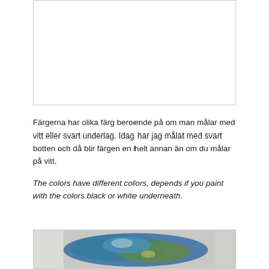[Figure (photo): White/blank image area at top of page]
Färgerna har olika färg beroende på om man målar med vitt eller svart underlag. Idag har jag målat med svart botten och då blir färgen en helt annan än om du målar på vitt.
The colors have different colors, depends if you paint with the colors black or white underneath.
[Figure (photo): Photo showing paint or artwork with blue, teal, and gold colors on a dark background]